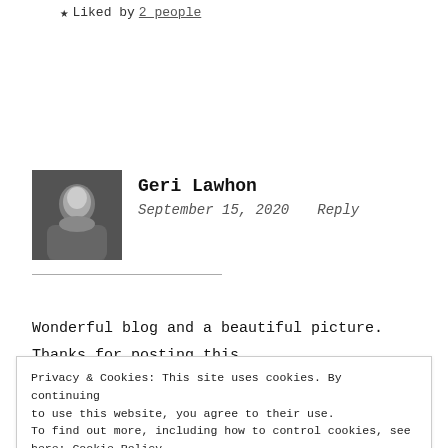★ Liked by 2 people
[Figure (photo): Black and white profile photo of Geri Lawhon, a woman with short light hair]
Geri Lawhon
September 15, 2020    Reply
Wonderful blog and a beautiful picture.
Thanks for posting this.
Privacy & Cookies: This site uses cookies. By continuing to use this website, you agree to their use. To find out more, including how to control cookies, see here: Cookie Policy
Close and accept